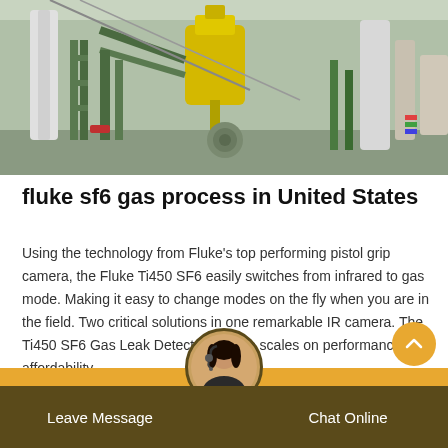[Figure (photo): Industrial outdoor equipment area with green metal structures, yellow equipment, pipes and machinery at a gas processing facility]
fluke sf6 gas process in United States
Using the technology from Fluke's top performing pistol grip camera, the Fluke Ti450 SF6 easily switches from infrared to gas mode. Making it easy to change modes on the fly when you are in the field. Two critical solutions in one remarkable IR camera. The Ti450 SF6 Gas Leak Detector tips the scales on performance and affordability.
Leave Message   Chat Online